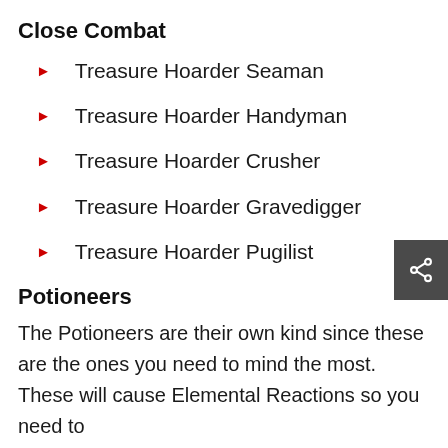Close Combat
Treasure Hoarder Seaman
Treasure Hoarder Handyman
Treasure Hoarder Crusher
Treasure Hoarder Gravedigger
Treasure Hoarder Pugilist
Potioneers
The Potioneers are their own kind since these are the ones you need to mind the most. These will cause Elemental Reactions so you need to